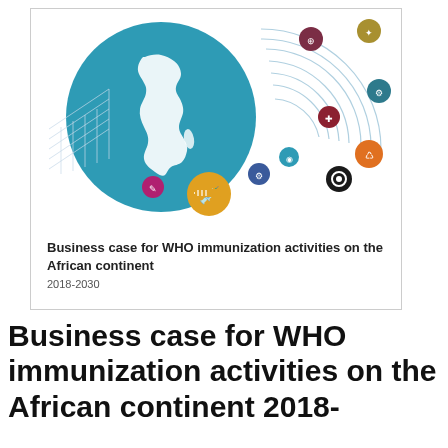[Figure (illustration): Thumbnail cover image of a WHO report showing a globe with Africa highlighted in white on a teal/blue circle, surrounded by concentric arc lines and colored circular icons representing health topics (immunization, etc.) on a white background.]
Business case for WHO immunization activities on the African continent
2018-2030
Business case for WHO immunization activities on the African continent 2018-